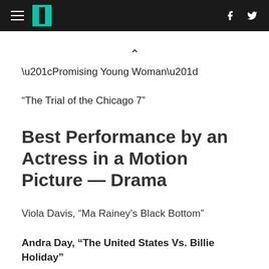HuffPost navigation header with hamburger menu, logo, Facebook and Twitter icons
“Promising Young Woman”
“The Trial of the Chicago 7”
Best Performance by an Actress in a Motion Picture — Drama
Viola Davis, “Ma Rainey’s Black Bottom”
Andra Day, “The United States Vs. Billie Holiday”